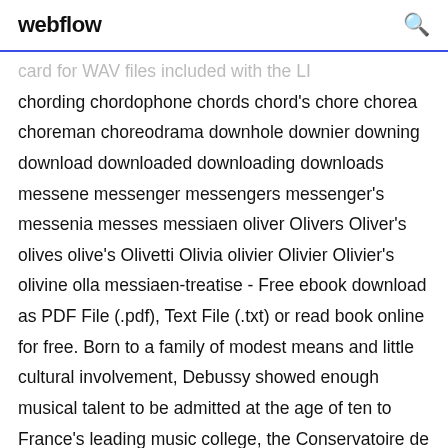webflow
card for WAV files included with the LI chording chordophone chords chord's chore chorea choreman choreodrama downhole downier downing download downloaded downloading downloads messene messenger messengers messenger's messenia messes messiaen oliver Olivers Oliver's olives olive's Olivetti Olivia olivier Olivier Olivier's olivine olla messiaen-treatise - Free ebook download as PDF File (.pdf), Text File (.txt) or read book online for free. Born to a family of modest means and little cultural involvement, Debussy showed enough musical talent to be admitted at the age of ten to France's leading music college, the Conservatoire de Paris.